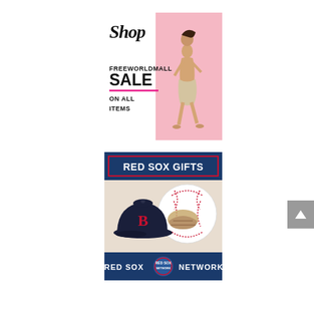[Figure (illustration): FreeWorldMall sale advertisement banner with 'Shop' script text, 'FREEWORLDMALL SALE ON ALL ITEMS' bold text, pink horizontal rule, and a woman in a dress running on pink background]
[Figure (illustration): Red Sox Gifts advertisement with navy blue header reading 'RED SOX GIFTS', middle section showing a Red Sox cap and baseball on light background, and footer with 'RED SOX NETWORK' logo on navy blue background]